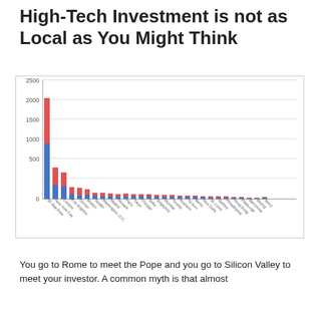High-Tech Investment is not as Local as You Might Think
[Figure (stacked-bar-chart): ]
You go to Rome to meet the Pope and you go to Silicon Valley to meet your investor. A common myth is that almost